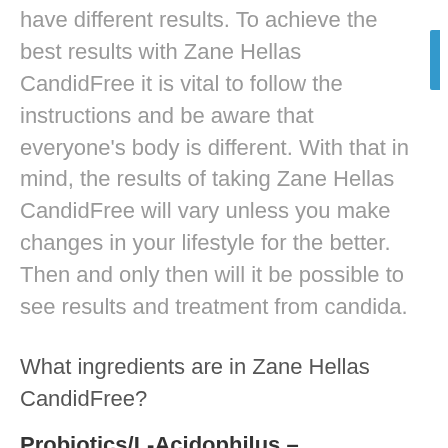have different results. To achieve the best results with Zane Hellas CandidFree it is vital to follow the instructions and be aware that everyone's body is different. With that in mind, the results of taking Zane Hellas CandidFree will vary unless you make changes in your lifestyle for the better. Then and only then will it be possible to see results and treatment from candida.
What ingredients are in Zane Hellas CandidFree?
Probiotics/L-Acidophilus –